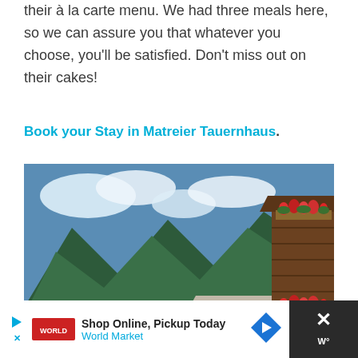their à la carte menu. We had three meals here, so we can assure you that whatever you choose, you'll be satisfied. Don't miss out on their cakes!
Book your Stay in Matreier Tauernhaus.
[Figure (photo): Alpine village scene with a traditional wooden chalet in the foreground right, stacked firewood, flower boxes with red geraniums, and a white Austrian farmhouse in the background left, surrounded by green forested mountains under a blue sky with clouds.]
[Figure (infographic): Advertisement bar: 'Shop Online, Pickup Today - World Market' with a navigation arrow icon and close button.]